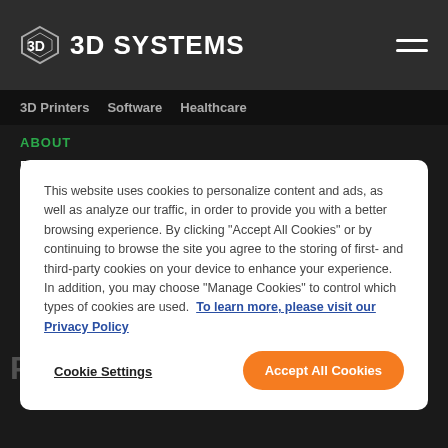3D SYSTEMS
3D Printers   Software   Healthcare
ABOUT
Press Room   Events   Sustainability   Careers
Investor Relations   Imprint
This website uses cookies to personalize content and ads, as well as analyze our traffic, in order to provide you with a better browsing experience. By clicking "Accept All Cookies" or by continuing to browse the site you agree to the storing of first- and third-party cookies on your device to enhance your experience. In addition, you may choose "Manage Cookies" to control which types of cookies are used. To learn more, please visit our Privacy Policy
Cookie Settings
Accept All Cookies